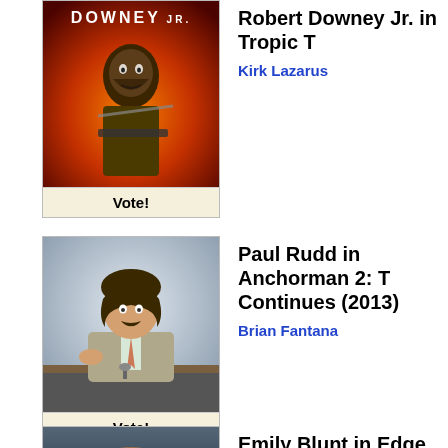[Figure (photo): Movie poster/still of Robert Downey Jr. as Kirk Lazarus in Tropic Thunder — DOWNEY JR. text at top, character in military gear with ammunition belt against fiery background]
Robert Downey Jr. in Tropic T
Kirk Lazarus
Vote!
[Figure (photo): Still of Paul Rudd as Brian Fantana in Anchorman 2: The Legend Continues (2013) — man in suit with mustache at a news desk, gesturing]
Paul Rudd in Anchorman 2: The Legend Continues (2013)
Brian Fantana
Vote!
[Figure (photo): Still of Emily Blunt as Rita in Edge of Tomorrow — woman in military/sci-fi attire]
Emily Blunt in Edge of Tomor
Rita